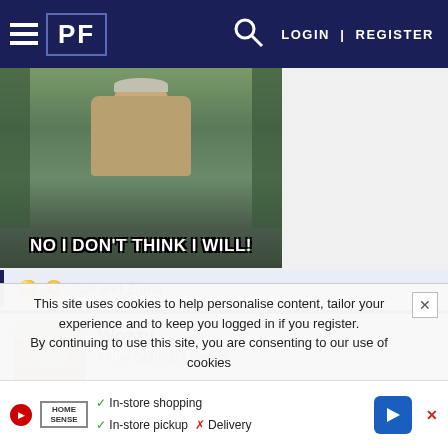PF | LOGIN | REGISTER
[Figure (photo): Meme image of an older man with text 'NO I DON'T THINK I WILL!']
🟡 😆 Jlaff and Zuma
Wozzy
In the Starting Line-Up
Jan 11, 2021  #29
If the market isn't brick for Trubisky I'd take him as a reasonably
This site uses cookies to help personalise content, tailor your experience and to keep you logged in if you register.
By continuing to use this site, you are consenting to our use of cookies
✓ In-store shopping
✓ In-store pickup  ✗ Delivery